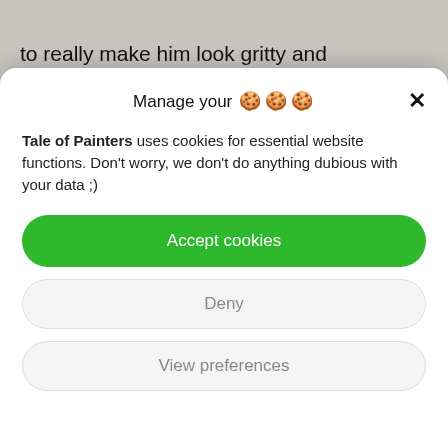to really make him look gritty and gruesome. I used Blood for the Blood God and sponged it on to create blood splatter on the metal of his weapon and his apron. I also added Typhus Corrosion on his clothes to make him look grimy.
[Figure (screenshot): Cookie consent modal dialog with title 'Manage your 🍪🍪🍪', a close X button, descriptive text, and three buttons: Accept cookies (green), Deny (gray outline), View preferences (gray outline).]